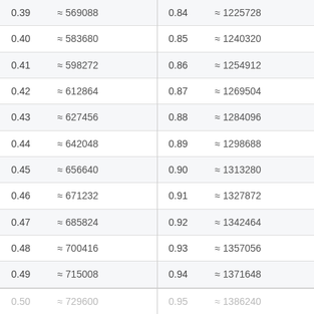| x | value | x | value |
| --- | --- | --- | --- |
| 0.39 | ≈ 569088 | 0.84 | ≈ 1225728 |
| 0.40 | ≈ 583680 | 0.85 | ≈ 1240320 |
| 0.41 | ≈ 598272 | 0.86 | ≈ 1254912 |
| 0.42 | ≈ 612864 | 0.87 | ≈ 1269504 |
| 0.43 | ≈ 627456 | 0.88 | ≈ 1284096 |
| 0.44 | ≈ 642048 | 0.89 | ≈ 1298688 |
| 0.45 | ≈ 656640 | 0.90 | ≈ 1313280 |
| 0.46 | ≈ 671232 | 0.91 | ≈ 1327872 |
| 0.47 | ≈ 685824 | 0.92 | ≈ 1342464 |
| 0.48 | ≈ 700416 | 0.93 | ≈ 1357056 |
| 0.49 | ≈ 715008 | 0.94 | ≈ 1371648 |